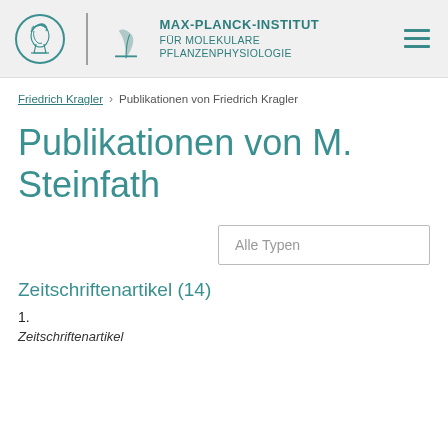[Figure (logo): Max-Planck-Institut für Molekulare Pflanzenphysiologie header logo with Minerva circle emblem, leaf/feather graphic, institute name, and hamburger menu icon]
Friedrich Kragler › Publikationen von Friedrich Kragler
Publikationen von M. Steinfath
Alle Typen
Zeitschriftenartikel (14)
1.
Zeitschriftenartikel